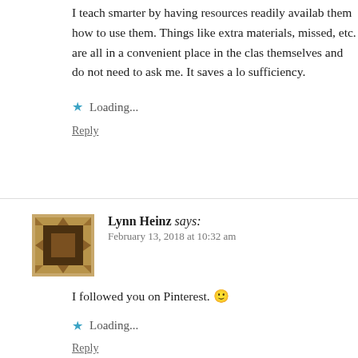I teach smarter by having resources readily available them how to use them. Things like extra materials, missed, etc. are all in a convenient place in the clas themselves and do not need to ask me. It saves a lo sufficiency.
Loading...
Reply
Lynn Heinz says:
February 13, 2018 at 10:32 am
I followed you on Pinterest. 🙂
Loading...
Reply